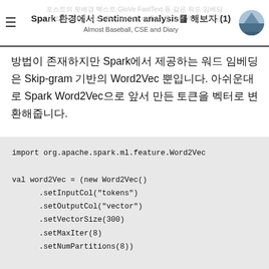Spark 환경에서 Sentiment analysis를 해보자 (1)
Almost Baseball, CSE and Diary
방법이 존재하지만 Spark에서 제공하는 워드 임베딩은 Skip-gram 기반의 Word2Vec 뿐입니다. 아쉬운대로 Spark Word2Vec으로 앞서 만든 토큰을 벡터로 변환해줍니다.
import org.apache.spark.ml.feature.Word2Vec

val word2Vec = (new Word2Vec()
      .setInputCol("tokens")
      .setOutputCol("vector")
      .setVectorSize(300)
      .setMaxIter(8)
      .setNumPartitions(8))

val model = word2Vec.fit(tokenizedData)
val vectorizedData = model.transform(tokenizedData)